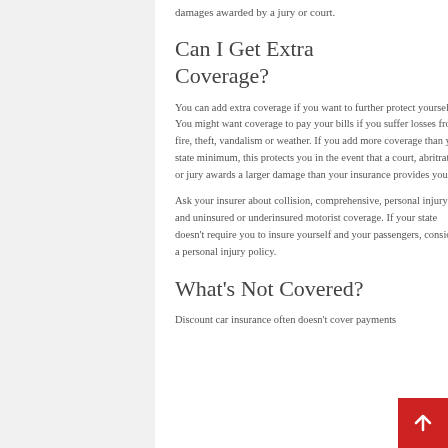damages awarded by a jury or court.
Can I Get Extra Coverage?
You can add extra coverage if you want to further protect yourself. You might want coverage to pay your bills if you suffer losses from fire, theft, vandalism or weather. If you add more coverage than your state minimum, this protects you in the event that a court, abritrator or jury awards a larger damage than your insurance provides you.
Ask your insurer about collision, comprehensive, personal injury and uninsured or underinsured motorist coverage. If your state doesn't require you to insure yourself and your passengers, consider a personal injury policy.
What's Not Covered?
Discount car insurance often doesn't cover payments